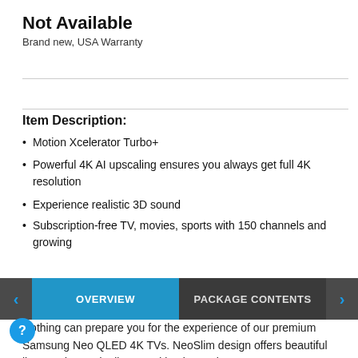Not Available
Brand new, USA Warranty
Item Description:
Motion Xcelerator Turbo+
Powerful 4K AI upscaling ensures you always get full 4K resolution
Experience realistic 3D sound
Subscription-free TV, movies, sports with 150 channels and growing
OVERVIEW | PACKAGE CONTENTS
Nothing can prepare you for the experience of our premium Samsung Neo QLED 4K TVs. NeoSlim design offers beautiful lines and a gradually curved back panel